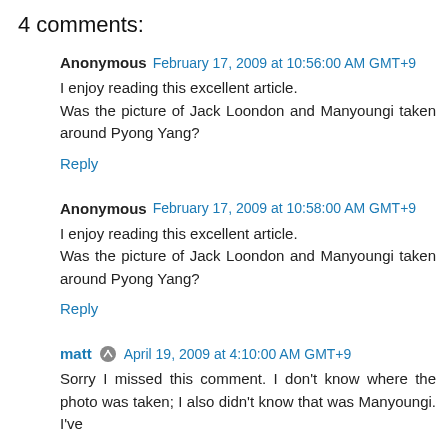4 comments:
Anonymous February 17, 2009 at 10:56:00 AM GMT+9
I enjoy reading this excellent article.
Was the picture of Jack Loondon and Manyoungi taken around Pyong Yang?
Reply
Anonymous February 17, 2009 at 10:58:00 AM GMT+9
I enjoy reading this excellent article.
Was the picture of Jack Loondon and Manyoungi taken around Pyong Yang?
Reply
matt April 19, 2009 at 4:10:00 AM GMT+9
Sorry I missed this comment. I don't know where the photo was taken; I also didn't know that was Manyoungi. I've